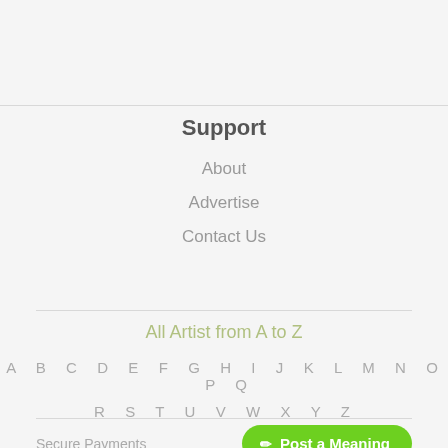Support
About
Advertise
Contact Us
All Artist from A to Z
A B C D E F G H I J K L M N O P Q
R S T U V W X Y Z
Secure Payments
Post a Meaning